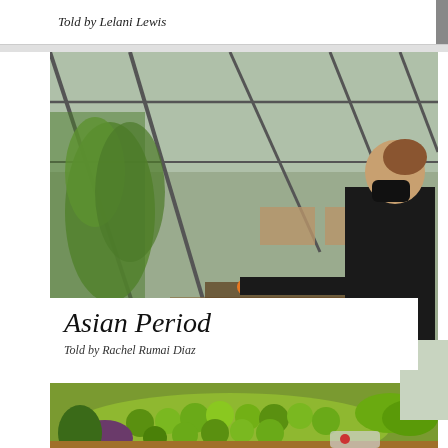Told by Lelani Lewis
[Figure (photo): A woman wearing a black mask and black t-shirt carrying a tray of food items inside a greenhouse-style restaurant or indoor garden venue with large glass panes and greenery.]
Asian Period
Told by Rachel Rumai Diaz
[Figure (photo): A colorful market display showing piles of tropical fruits including green limes, bananas, avocados, and other produce in wooden crates.]